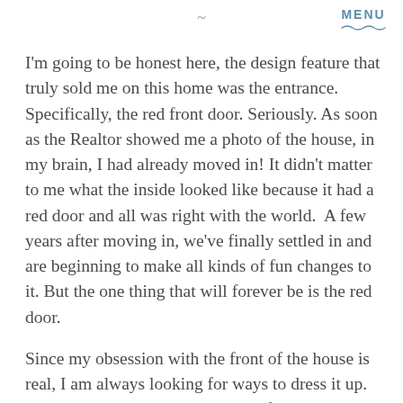~ MENU
I'm going to be honest here, the design feature that truly sold me on this home was the entrance. Specifically, the red front door. Seriously. As soon as the Realtor showed me a photo of the house, in my brain, I had already moved in! It didn't matter to me what the inside looked like because it had a red door and all was right with the world.  A few years after moving in, we've finally settled in and are beginning to make all kinds of fun changes to it. But the one thing that will forever be is the red door.
Since my obsession with the front of the house is real, I am always looking for ways to dress it up. Having the big red door is wonderful, but